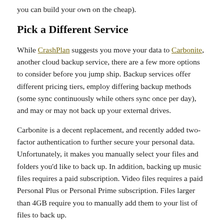you can build your own on the cheap).
Pick a Different Service
While CrashPlan suggests you move your data to Carbonite, another cloud backup service, there are a few more options to consider before you jump ship. Backup services offer different pricing tiers, employ differing backup methods (some sync continuously while others sync once per day), and may or may not back up your external drives.
Carbonite is a decent replacement, and recently added two-factor authentication to further secure your personal data. Unfortunately, it makes you manually select your files and folders you'd like to back up. In addition, backing up music files requires a paid subscription. Video files requires a paid Personal Plus or Personal Prime subscription. Files larger than 4GB require you to manually add them to your list of files to back up.